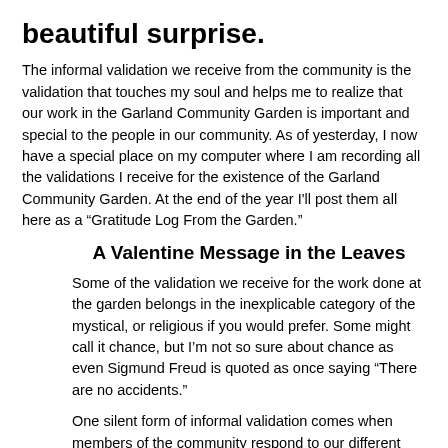beautiful surprise.
The informal validation we receive from the community is the validation that touches my soul and helps me to realize that our work in the Garland Community Garden is important and special to the people in our community.  As of yesterday, I now have a special place on my computer where I am recording all the validations I receive for the existence of the Garland Community Garden.  At the end of the year I'll post them all here as a “Gratitude Log From the Garden.”
A Valentine Message in the Leaves
Some of the validation we receive for the work done at the garden belongs in the inexplicable category of the mystical, or religious if you would prefer.  Some might call it chance, but I’m not so sure about chance as even Sigmund Freud is quoted as once saying “There are no accidents.”
One silent form of informal validation comes when members of the community respond to our different campaigns for educating our community.  Monday, for example, I was once again given validation of the